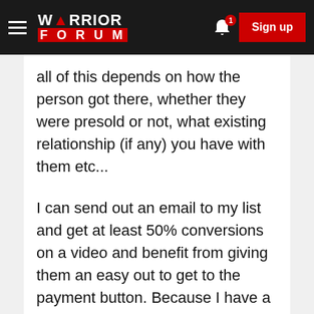WARRIOR FORUM — Sign up
all of this depends on how the person got there, whether they were presold or not, what existing relationship (if any) you have with them etc...
I can send out an email to my list and get at least 50% conversions on a video and benefit from giving them an easy out to get to the payment button. Because I have a relationship with them and can set their expectations before they see the video.